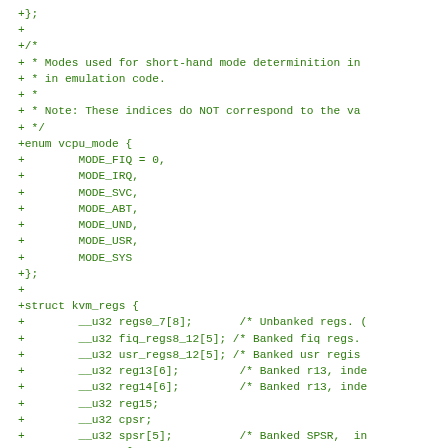+};
+
+/*
+ * Modes used for short-hand mode determinition in
+ * in emulation code.
+ *
+ * Note: These indices do NOT correspond to the va
+ */
+enum vcpu_mode {
+        MODE_FIQ = 0,
+        MODE_IRQ,
+        MODE_SVC,
+        MODE_ABT,
+        MODE_UND,
+        MODE_USR,
+        MODE_SYS
+};
+
+struct kvm_regs {
+        __u32 regs0_7[8];       /* Unbanked regs. (
+        __u32 fiq_regs8_12[5]; /* Banked fiq regs.
+        __u32 usr_regs8_12[5]; /* Banked usr regis
+        __u32 reg13[6];         /* Banked r13, inde
+        __u32 reg14[6];         /* Banked r13, inde
+        __u32 reg15;
+        __u32 cpsr;
+        __u32 spsr[5];          /* Banked SPSR,  in
+        struct {
+                __u32 c0_midr;
+                __u32 c1_sys;